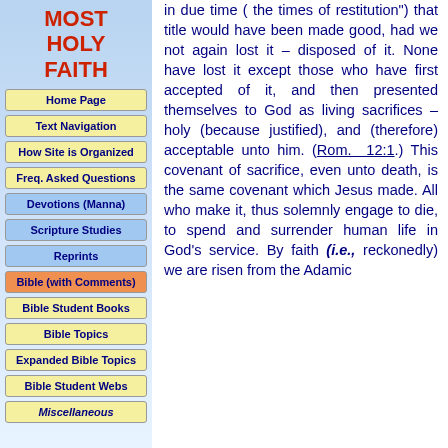MOST HOLY FAITH
Home Page
Text Navigation
How Site is Organized
Freq. Asked Questions
Devotions (Manna)
Scripture Studies
Reprints
Bible (with Comments)
Bible Student Books
Bible Topics
Expanded Bible Topics
Bible Student Webs
Miscellaneous
in due time ( the times of restitution") that title would have been made good, had we not again lost it – disposed of it. None have lost it except those who have first accepted of it, and then presented themselves to God as living sacrifices – holy (because justified), and (therefore) acceptable unto him. (Rom. 12:1.) This covenant of sacrifice, even unto death, is the same covenant which Jesus made. All who make it, thus solemnly engage to die, to spend and surrender human life in God's service. By faith (i.e., reckonedly) we are risen from the Adamic